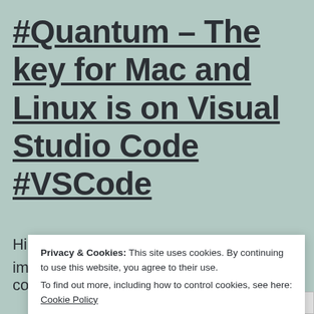#Quantum – The key for Mac and Linux is on Visual Studio Code #VSCode
Hi! Yesterday I wrote that one of the most important news of the last Update of the
Privacy & Cookies: This site uses cookies. By continuing to use this website, you agree to their use.
To find out more, including how to control cookies, see here: Cookie Policy
Close and accept
Dark Mode: Off
connection to the Quantum Simul...